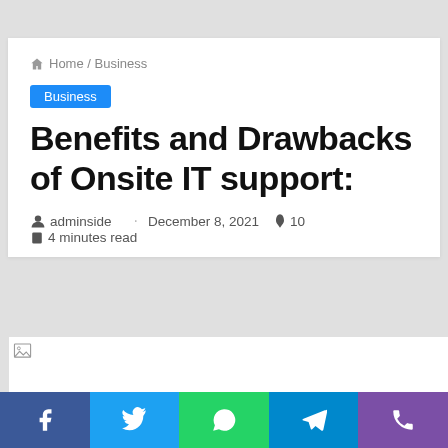Home / Business
Business
Benefits and Drawbacks of Onsite IT support:
adminside · December 8, 2021 🔥 10 🔖 4 minutes read
[Figure (photo): Article featured image placeholder (broken image icon)]
Social share buttons: Facebook, Twitter, WhatsApp, Telegram, Phone